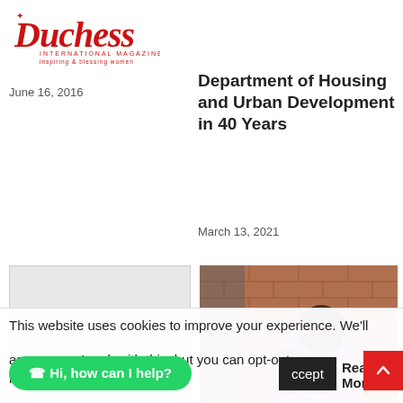[Figure (logo): Duchess International Magazine logo in red cursive script with tagline 'inspiring & blessing women']
June 16, 2016
Department of Housing and Urban Development in 40 Years
March 13, 2021
[Figure (photo): Blank/placeholder grey image box on left column]
[Figure (photo): Photo of a woman in purple shirt holding a baby/toddler in front of a brick wall]
This website uses cookies to improve your experience. We'll assume you're ok with this, but you can opt-out if you w
☺ Hi, how can I help?
ccept
Read More